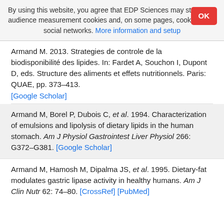By using this website, you agree that EDP Sciences may store web audience measurement cookies and, on some pages, cookies from social networks. More information and setup
Armand M. 2013. Strategies de controle de la biodisponibilité des lipides. In: Fardet A, Souchon I, Dupont D, eds. Structure des aliments et effets nutritionnels. Paris: QUAE, pp. 373–413. [Google Scholar]
Armand M, Borel P, Dubois C, et al. 1994. Characterization of emulsions and lipolysis of dietary lipids in the human stomach. Am J Physiol Gastrointest Liver Physiol 266: G372–G381. [Google Scholar]
Armand M, Hamosh M, Dipalma JS, et al. 1995. Dietary-fat modulates gastric lipase activity in healthy humans. Am J Clin Nutr 62: 74–80. [CrossRef] [PubMed]